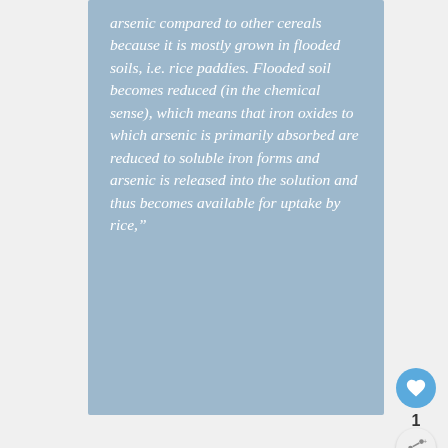arsenic compared to other cereals because it is mostly grown in flooded soils, i.e. rice paddies. Flooded soil becomes reduced (in the chemical sense), which means that iron oxides to which arsenic is primarily absorbed are reduced to soluble iron forms and arsenic is released into the solution and thus becomes available for uptake by rice,”